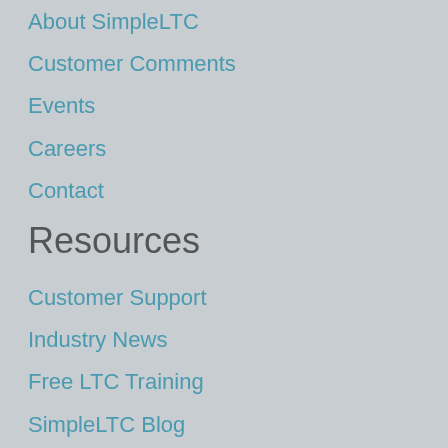About SimpleLTC
Customer Comments
Events
Careers
Contact
Resources
Customer Support
Industry News
Free LTC Training
SimpleLTC Blog